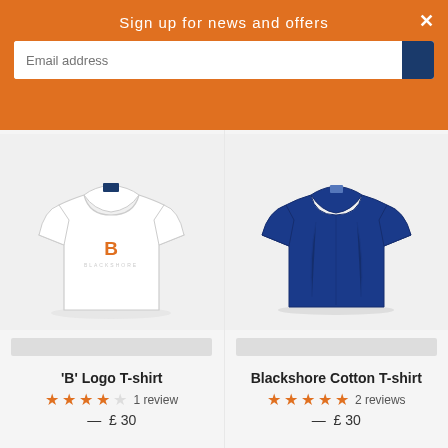Sign up for news and offers
[Figure (photo): White t-shirt with orange B logo on chest]
[Figure (photo): Navy blue cotton t-shirt]
'B' Logo T-shirt
★★★★☆ 1 review
— £30
Blackshore Cotton T-shirt
★★★★★ 2 reviews
— £30